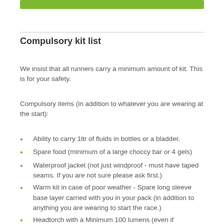Compulsory kit list
We insist that all runners carry a minimum amount of kit. This is for your safety.
Compulsory items (in addition to whatever you are wearing at the start):
Ability to carry 1ltr of fluids in bottles or a bladder.
Spare food (minimum of a large choccy bar or 4 gels)
Waterproof jacket (not just windproof - must have taped seams. If you are not sure please ask first.)
Warm kit in case of poor weather - Spare long sleeve base layer carried with you in your pack (in addition to anything you are wearing to start the race.)
Headtorch with a Minimum 100 lumens (even if you think you will finish in daylight)